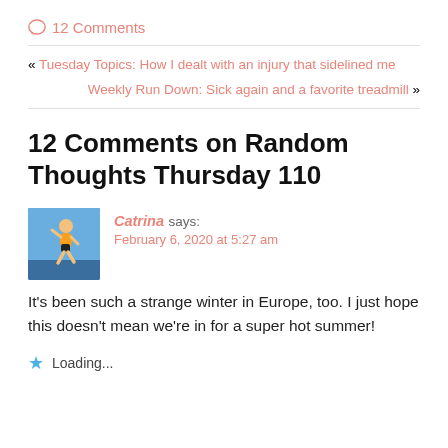💬 12 Comments
« Tuesday Topics: How I dealt with an injury that sidelined me
Weekly Run Down: Sick again and a favorite treadmill »
12 Comments on Random Thoughts Thursday 110
Catrina says: February 6, 2020 at 5:27 am
It's been such a strange winter in Europe, too. I just hope this doesn't mean we're in for a super hot summer!
⭐ Loading...